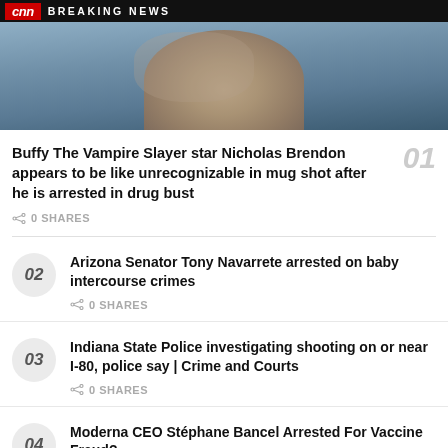[Figure (photo): CNN Breaking News banner at top with a partial mugshot photo of a person below it]
Buffy The Vampire Slayer star Nicholas Brendon appears to be like unrecognizable in mug shot after he is arrested in drug bust
0 SHARES
02 Arizona Senator Tony Navarrete arrested on baby intercourse crimes
0 SHARES
03 Indiana State Police investigating shooting on or near I-80, police say | Crime and Courts
0 SHARES
04 Moderna CEO Stéphane Bancel Arrested For Vaccine Fraud?
0 SHARES